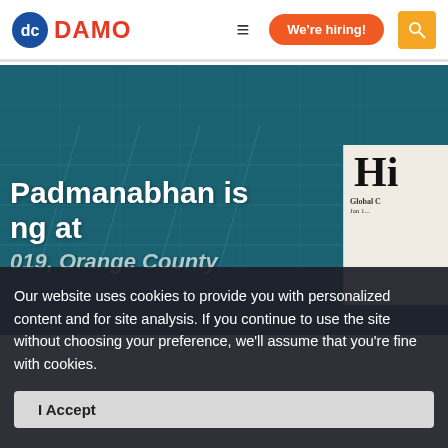DAMO — We're hiring!
[Figure (screenshot): Hero banner with teal/blue background showing architectural blueprint imagery. Partially visible headline text: 'Padmanabhan is [speak]ing at' and partially visible subtitle '019, Orange County' and '[on Enter Or]lando Fl...' with a newspaper thumbnail on the right showing 'Hi' in bold serif and 'Global C...' subtitle.]
Our website uses cookies to provide you with personalized content and for site analysis. If you continue to use the site without choosing your preference, we'll assume that you're fine with cookies.
I Accept